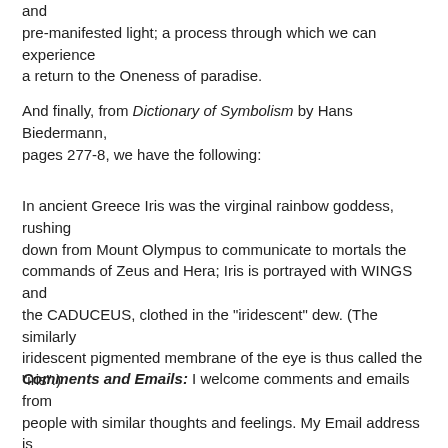and
pre-manifested light; a process through which we can experience
a return to the Oneness of paradise.
And finally, from Dictionary of Symbolism by Hans Biedermann,
pages 277-8, we have the following:
In ancient Greece Iris was the virginal rainbow goddess, rushing
down from Mount Olympus to communicate to mortals the commands of Zeus and Hera; Iris is portrayed with WINGS and
the CADUCEUS, clothed in the "iridescent" dew. (The similarly
iridescent pigmented membrane of the eye is thus called the
"iris".)
Comments and Emails: I welcome comments and emails from
people with similar thoughts and feelings. My Email address
is